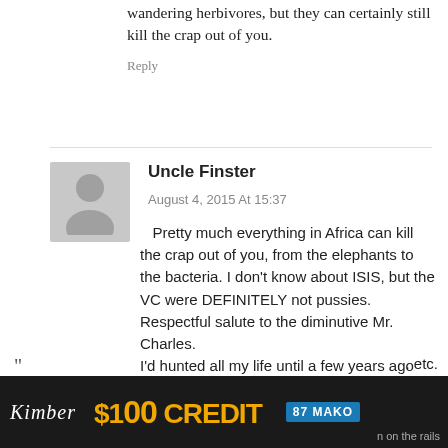wandering herbivores, but they can certainly still kill the crap out of you.
Reply
[Figure (illustration): Generic user avatar placeholder — grey silhouette of a person on light grey background]
Uncle Finster
August 4, 2015 At 15:37
Pretty much everything in Africa can kill the crap out of you, from the elephants to the bacteria. I don't know about ISIS, but the VC were DEFINITELY not pussies. Respectful salute to the diminutive Mr. Charles.
I'd hunted all my life until a few years ago when a brick must've fallen on my head or something, and just decided I wasn't going to do any more killing, ever**, unless it was self defense. I don't criticize anybody else for hunting, trophy
. etc.
[Figure (screenshot): Advertisement banner: dark background with a handgun image, '$100 CREDIT' in gold text, and 'MAKO' branding on blue badge]